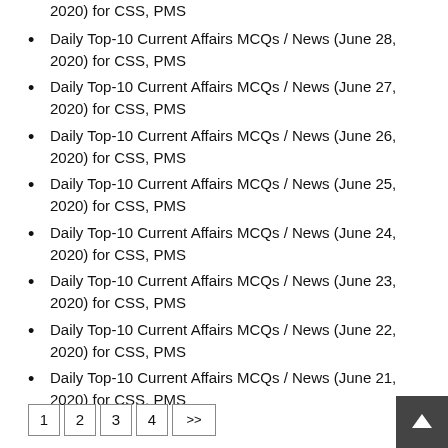2020) for CSS, PMS
Daily Top-10 Current Affairs MCQs / News (June 28, 2020) for CSS, PMS
Daily Top-10 Current Affairs MCQs / News (June 27, 2020) for CSS, PMS
Daily Top-10 Current Affairs MCQs / News (June 26, 2020) for CSS, PMS
Daily Top-10 Current Affairs MCQs / News (June 25, 2020) for CSS, PMS
Daily Top-10 Current Affairs MCQs / News (June 24, 2020) for CSS, PMS
Daily Top-10 Current Affairs MCQs / News (June 23, 2020) for CSS, PMS
Daily Top-10 Current Affairs MCQs / News (June 22, 2020) for CSS, PMS
Daily Top-10 Current Affairs MCQs / News (June 21, 2020) for CSS, PMS